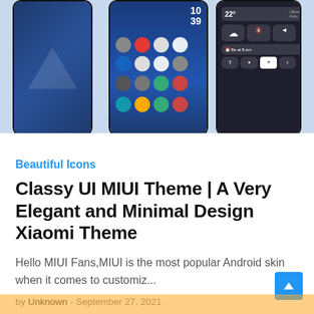[Figure (screenshot): Screenshot of MIUI theme preview showing three smartphones side by side with blue gradient wallpaper and app icons. Watermark text reads: FOR MORE THEMES VISIT - MIUITHEMES.COM]
Beautiful Icons
Classy UI MIUI Theme | A Very Elegant and Minimal Design Xiaomi Theme
Hello MIUI Fans,MIUI is the most popular Android skin when it comes to customiz...
by Unknown - September 27, 2021